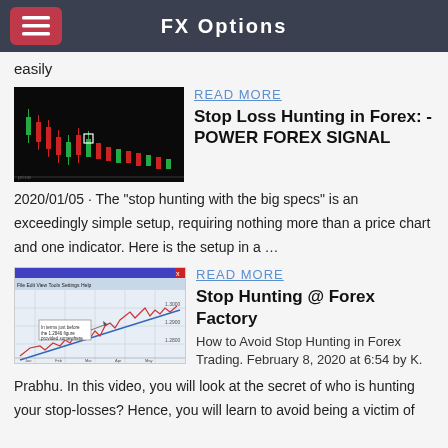FX Options
easily
[Figure (screenshot): Forex candlestick chart with dark background showing red/green candles and price movements]
READ MORE
Stop Loss Hunting in Forex: - POWER FOREX SIGNAL
2020/01/05 · The "stop hunting with the big specs" is an exceedingly simple setup, requiring nothing more than a price chart and one indicator. Here is the setup in a ...
[Figure (screenshot): Forex chart screenshot with line chart and annotation box showing stop hunting example]
READ MORE
Stop Hunting @ Forex Factory
How to Avoid Stop Hunting in Forex Trading. February 8, 2020 at 6:54 by K. Prabhu. In this video, you will look at the secret of who is hunting your stop-losses? Hence, you will learn to avoid being a victim of